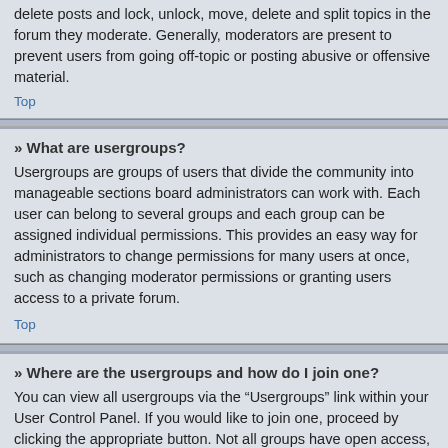delete posts and lock, unlock, move, delete and split topics in the forum they moderate. Generally, moderators are present to prevent users from going off-topic or posting abusive or offensive material.
Top
» What are usergroups?
Usergroups are groups of users that divide the community into manageable sections board administrators can work with. Each user can belong to several groups and each group can be assigned individual permissions. This provides an easy way for administrators to change permissions for many users at once, such as changing moderator permissions or granting users access to a private forum.
Top
» Where are the usergroups and how do I join one?
You can view all usergroups via the “Usergroups” link within your User Control Panel. If you would like to join one, proceed by clicking the appropriate button. Not all groups have open access, however. Some may require approval to join, some may be closed and some may even have hidden memberships. If the group is open, you can join it by clicking the appropriate button. If a group requires approval to join you may request to join by clicking the appropriate button. The user group leader will need to approve your request and may ask why you want to join the group. Please do not harass a group leader if they reject your request; they will